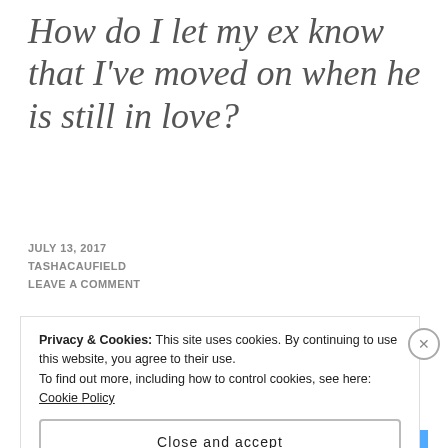How do I let my ex know that I've moved on when he is still in love?
JULY 13, 2017
TASHACAUFIELD
LEAVE A COMMENT
[Figure (photo): A blonde woman looking out a car window at night]
Privacy & Cookies: This site uses cookies. By continuing to use this website, you agree to their use.
To find out more, including how to control cookies, see here: Cookie Policy
Close and accept